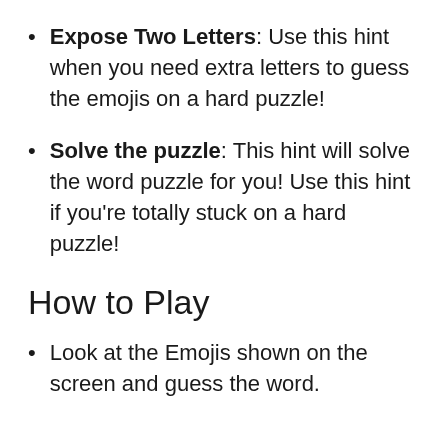Expose Two Letters: Use this hint when you need extra letters to guess the emojis on a hard puzzle!
Solve the puzzle: This hint will solve the word puzzle for you! Use this hint if you're totally stuck on a hard puzzle!
How to Play
Look at the Emojis shown on the screen and guess the word.